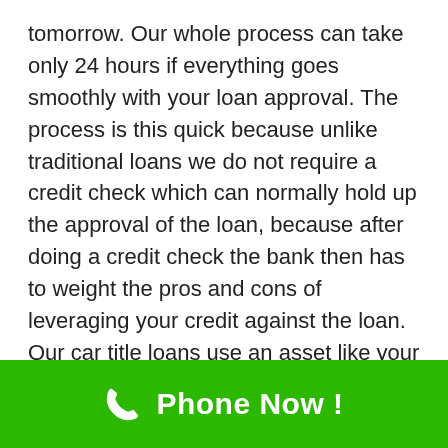tomorrow. Our whole process can take only 24 hours if everything goes smoothly with your loan approval. The process is this quick because unlike traditional loans we do not require a credit check which can normally hold up the approval of the loan, because after doing a credit check the bank then has to weight the pros and cons of leveraging your credit against the loan. Our car title loans use an asset like your car and base the sole value around this vehicle's assessment.
Easiest Online Application
[Figure (infographic): Green call-to-action bar at the bottom of the page with a white phone icon and bold white text reading 'Phone Now !']